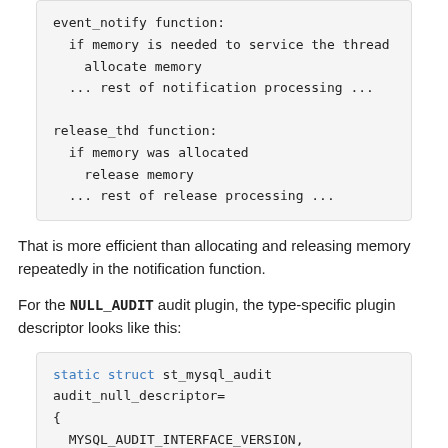[Figure (other): Code block showing event_notify and release_thd pseudocode functions]
That is more efficient than allocating and releasing memory repeatedly in the notification function.
For the NULL_AUDIT audit plugin, the type-specific plugin descriptor looks like this:
[Figure (other): Code block showing static struct st_mysql_audit audit_null_descriptor definition with MYSQL_AUDIT_INTERFACE_VERSION, NULL, audit_null_notify, { (unsigned long) MYSQL_AUDIT_GENERAL_ALL,]